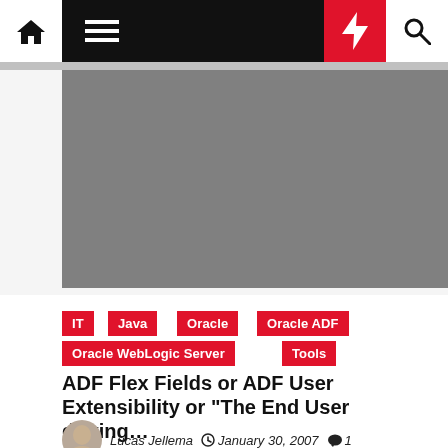[Figure (screenshot): Website navigation bar with home icon, hamburger menu, red lightning bolt icon, and search icon on dark background]
[Figure (photo): Gray placeholder hero image for article]
IT
Java
Oracle
Oracle ADF
Oracle WebLogic Server
Tools
ADF Flex Fields or ADF User Extensibility or "The End User driving...
Lucas Jellema  January 30, 2007  1